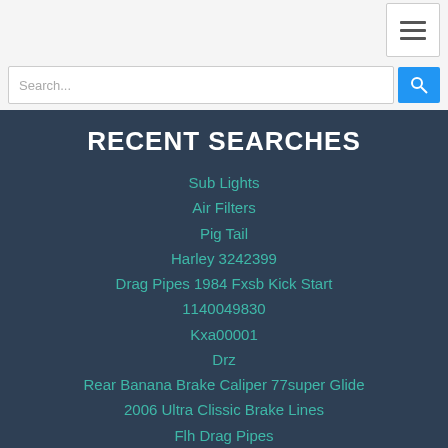RECENT SEARCHES
Sub Lights
Air Filters
Pig Tail
Harley 3242399
Drag Pipes 1984 Fxsb Kick Start
1140049830
Kxa00001
Drz
Rear Banana Brake Caliper 77super Glide
2006 Ultra Clissic Brake Lines
Flh Drag Pipes
Wraparound Backrest
Alpina Shifter
Bultco Shifter